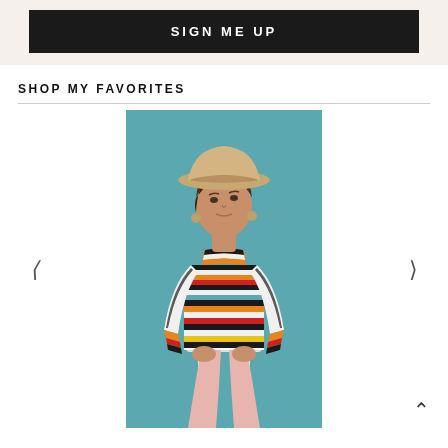SIGN ME UP
SHOP MY FAVORITES
[Figure (photo): Woman wearing a wide-brim tan hat and a colorful multicolor striped turtleneck sweater with pink pants, seated on a white stool against a teal background. Navigation arrows on left and right sides of the carousel.]